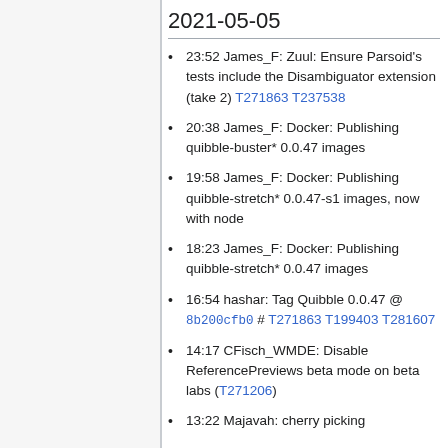2021-05-05
23:52 James_F: Zuul: Ensure Parsoid's tests include the Disambiguator extension (take 2) T271863 T237538
20:38 James_F: Docker: Publishing quibble-buster* 0.0.47 images
19:58 James_F: Docker: Publishing quibble-stretch* 0.0.47-s1 images, now with node
18:23 James_F: Docker: Publishing quibble-stretch* 0.0.47 images
16:54 hashar: Tag Quibble 0.0.47 @ 8b200cfb0 # T271863 T199403 T281607
14:17 CFisch_WMDE: Disable ReferencePreviews beta mode on beta labs (T271206)
13:22 Majavah: cherry picking